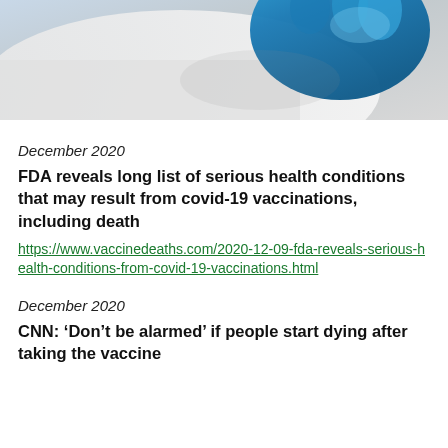[Figure (photo): Close-up photo of a gloved hand (blue latex glove) holding something, white coat in background — medical/vaccine context]
December 2020
FDA reveals long list of serious health conditions that may result from covid-19 vaccinations, including death
https://www.vaccinedeaths.com/2020-12-09-fda-reveals-serious-health-conditions-from-covid-19-vaccinations.html
December 2020
CNN: ‘Don’t be alarmed’ if people start dying after taking the vaccine